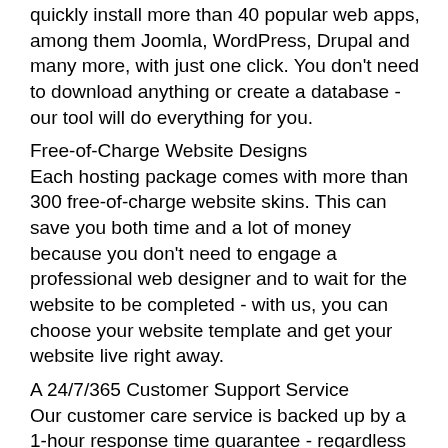quickly install more than 40 popular web apps, among them Joomla, WordPress, Drupal and many more, with just one click. You don't need to download anything or create a database - our tool will do everything for you.
Free-of-Charge Website Designs
Each hosting package comes with more than 300 free-of-charge website skins. This can save you both time and a lot of money because you don't need to engage a professional web designer and to wait for the website to be completed - with us, you can choose your website template and get your website live right away.
A 24/7/365 Customer Support Service
Our customer care service is backed up by a 1-hour response time guarantee - regardless of what the question is, our technical support team reps will respond in no more than sixty minutes. And they are available 24/7/365.